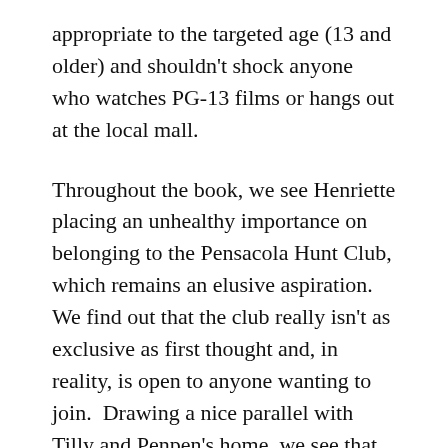appropriate to the targeted age (13 and older) and shouldn't shock anyone who watches PG-13 films or hangs out at the local mall.
Throughout the book, we see Henriette placing an unhealthy importance on belonging to the Pensacola Hunt Club, which remains an elusive aspiration.  We find out that the club really isn't as exclusive as first thought and, in reality, is open to anyone wanting to join.  Drawing a nice parallel with Tilly and Penpen's home, we see that the ominous house on the hill surrounded by bear-infested woods isn't really what it appears to be either.  It is actually warm, welcoming, and inclusive; all who enter are taken care of and treated with respect,